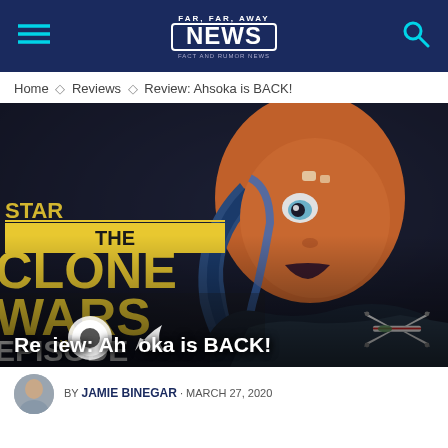FAR FAR AWAY NEWS
Home ◇ Reviews ◇ Review: Ahsoka is BACK!
[Figure (photo): Star Wars: The Clone Wars episode review thumbnail featuring Ahsoka Tano animated character with orange and white facial markings, blue eyes, and blue-striped head-tails. The Clone Wars logo and 'EPISODE REVIEW' text visible on left side. An X-wing fighter in lower right corner.]
Review: Ahsoka is BACK!
BY JAMIE BINEGAR · MARCH 27, 2020